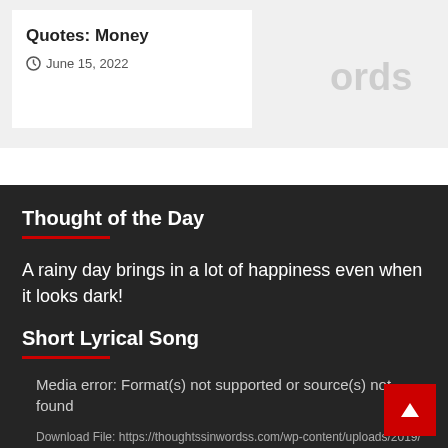Quotes: Money
June 15, 2022
Thought of the Day
A rainy day brings in a lot of happiness even when it looks dark!
Short Lyrical Song
Media error: Format(s) not supported or source(s) not found
Download File: https://thoughtssinwordss.com/wp-content/uploads/2019/05/Your-Girl.mp4?_=1
Download File: https://dgi.suc.mybluehost.me/thoughtssinwordss/wp-